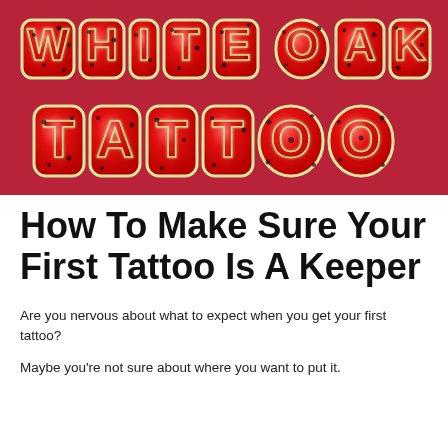[Figure (logo): White Oak Tattoo Co logo with watermelon-textured letters on a dark red/crimson background]
How To Make Sure Your First Tattoo Is A Keeper
Are you nervous about what to expect when you get your first tattoo?
Maybe you're not sure about where you want to put it.